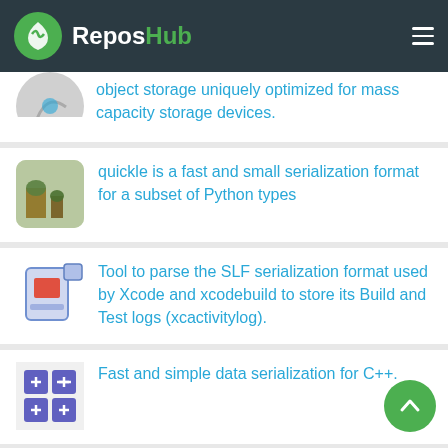ReposHub
object storage uniquely optimized for mass capacity storage devices.
quickle is a fast and small serialization format for a subset of Python types
Tool to parse the SLF serialization format used by Xcode and xcodebuild to store its Build and Test logs (xcactivitylog).
Fast and simple data serialization for C++.
The OpenEXR project provides the specification and reference implementation of the EXR file format, the